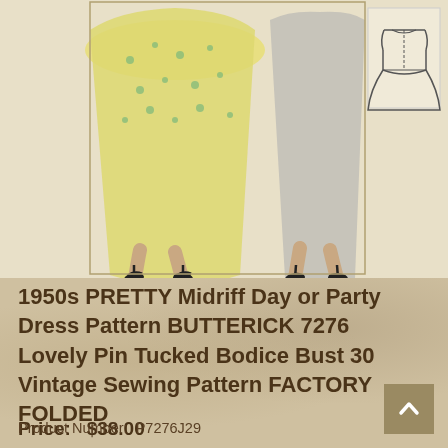[Figure (illustration): Vintage 1950s sewing pattern illustration showing two women in full-skirted dresses (one floral print), from the waist down, with heels. A small back-view sketch of the dress appears in the upper right corner. Cream/beige background with line art style.]
1950s PRETTY Midriff Day or Party Dress Pattern BUTTERICK 7276 Lovely Pin Tucked Bodice Bust 30 Vintage Sewing Pattern FACTORY FOLDED
Price:   $38.00
In Stock
Product Number:  P7276J29